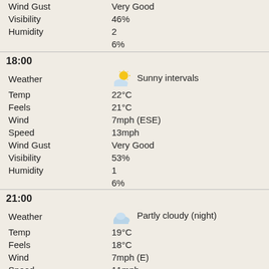| Field | Value |
| --- | --- |
| Wind Gust | Very Good |
| Visibility | 46% |
| Humidity | 2 |
|  | 6% |
18:00
| Field | Value |
| --- | --- |
| Weather | Sunny intervals |
| Temp | 22°C |
| Feels | 21°C |
| Wind | 7mph (ESE) |
| Speed | 13mph |
| Wind Gust | Very Good |
| Visibility | 53% |
| Humidity | 1 |
|  | 6% |
21:00
| Field | Value |
| --- | --- |
| Weather | Partly cloudy (night) |
| Temp | 19°C |
| Feels | 18°C |
| Wind | 7mph (E) |
| Speed | 11mph |
| Wind Gust | Very Good |
| Visibility | 68% |
| Humidity | 0 |
|  | 5% |